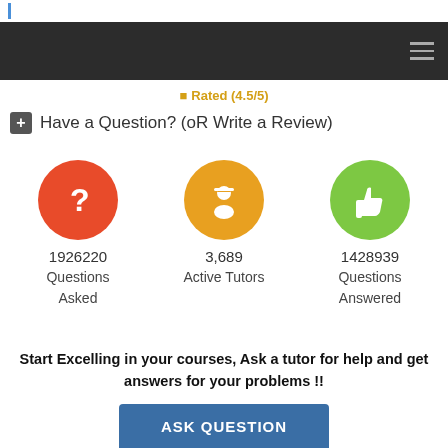Rated (4.5/5)
+ Have a Question? (oR Write a Review)
[Figure (infographic): Three circular icons with stats: red circle with question mark showing 1926220 Questions Asked; orange circle with tutor icon showing 3,689 Active Tutors; green circle with thumbs up showing 1428939 Questions Answered]
Start Excelling in your courses, Ask a tutor for help and get answers for your problems !!
ASK QUESTION